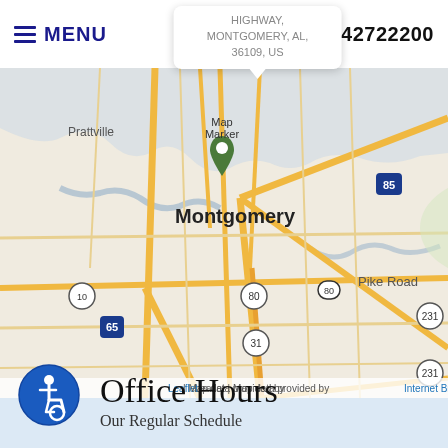MENU   HIGHWAY, MONTGOMERY, AL, 36109, US   3342722200
[Figure (map): Map showing Montgomery, Alabama area with road network including highways 65, 80, 85, 231, 31. Map marker placed over Montgomery city center. Shows surrounding areas including Prattville, Pike Road. Attribution: Leaflet | Map data provided by Internet Brands.]
Leaflet | Map data provided by Internet Brands
[Figure (logo): Blue circular accessibility icon showing a person in a wheelchair]
Office Hours
Our Regular Schedule